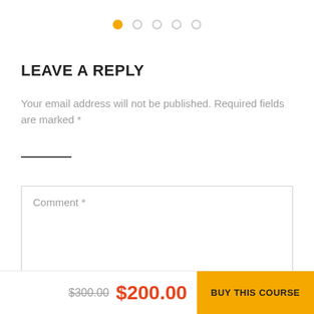[Figure (other): Pagination dots: 5 circles, first filled orange, rest empty]
LEAVE A REPLY
Your email address will not be published. Required fields are marked *
Comment *
$300.00  $200.00  BUY THIS COURSE